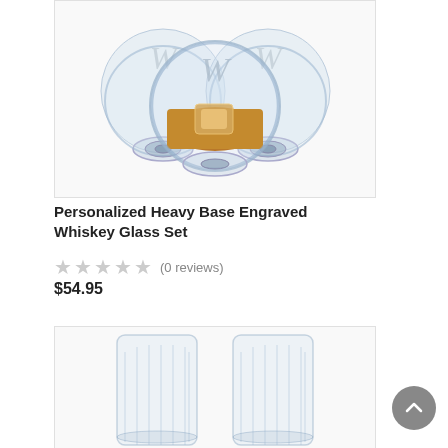[Figure (photo): Three round heavy-base whiskey glasses with engraved 'W' monogram. The center glass contains amber whiskey with ice. White background.]
Personalized Heavy Base Engraved Whiskey Glass Set
(0 reviews)
$54.95
[Figure (photo): Two clear whiskey glasses with faceted/ridged bases shown on white background, partially visible at bottom of page.]